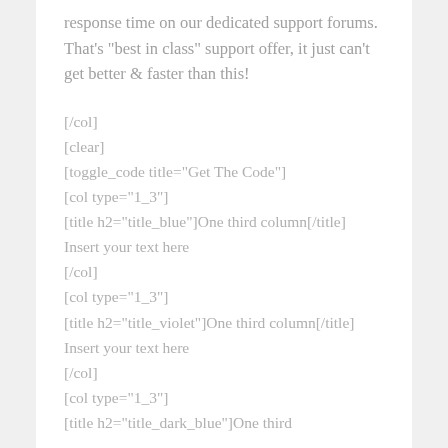response time on our dedicated support forums. That's "best in class" support offer, it just can't get better & faster than this!
[/col]
[clear]
[toggle_code title="Get The Code"]
[col type="1_3"]
[title h2="title_blue"]One third column[/title]
Insert your text here
[/col]
[col type="1_3"]
[title h2="title_violet"]One third column[/title]
Insert your text here
[/col]
[col type="1_3"]
[title h2="title_dark_blue"]One third